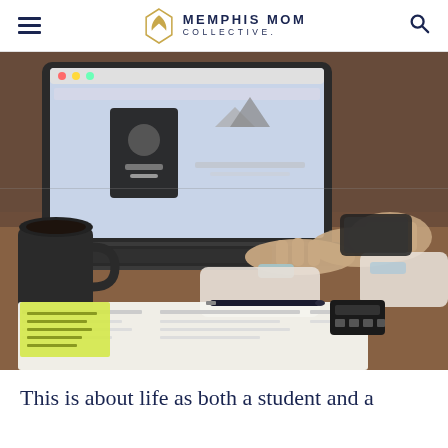Memphis Mom Collective
[Figure (photo): A person working on a laptop at a wooden desk with papers, a pen, a dark mug of coffee, sticky notes, and a phone. The laptop screen shows a website. The person is wearing a light sweater and a watch.]
This is about life as both a student and a